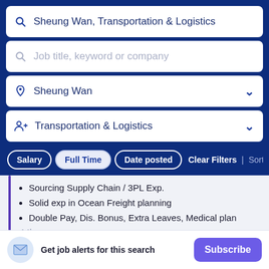Sheung Wan, Transportation & Logistics
Job title, keyword or company
Sheung Wan
Transportation & Logistics
Sourcing Supply Chain / 3PL Exp.
Solid exp in Ocean Freight planning
Double Pay, Dis. Bonus, Extra Leaves, Medical plan
14h ago
Get job alerts for this search